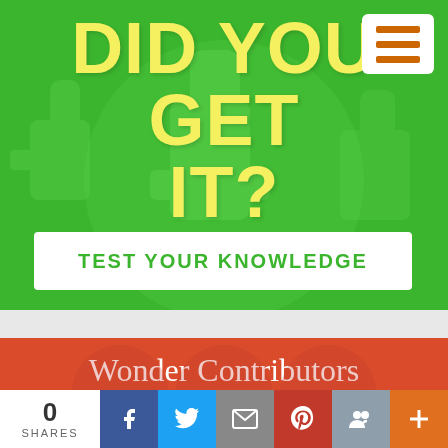DID YOU GET IT?
TEST YOUR KNOWLEDGE
Wonder Contributors
WE'D LIKE TO THANK:
Immanuel, ralyn , Hadleigh and Shruthik
for contributing questions about today's
0 SHARES